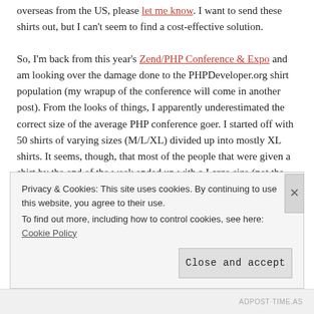overseas from the US, please let me know. I want to send these shirts out, but I can't seem to find a cost-effective solution.
So, I'm back from this year's Zend/PHP Conference & Expo and am looking over the damage done to the PHPDeveloper.org shirt population (my wrapup of the conference will come in another post). From the looks of things, I apparently underestimated the correct size of the average PHP conference goer. I started off with 50 shirts of varying sizes (M/L/XL) divided up into mostly XL shirts. It seems, though, that most of the people that were given a shirt by the end of the week ended up with a Large size (not the XL like I had figured – no offense meant to the other coders out there).
So, as a result, here's the tally of what I have left – out of the 50 t-
Privacy & Cookies: This site uses cookies. By continuing to use this website, you agree to their use.
To find out more, including how to control cookies, see here: Cookie Policy
Close and accept
ADPOST·TIME.AS